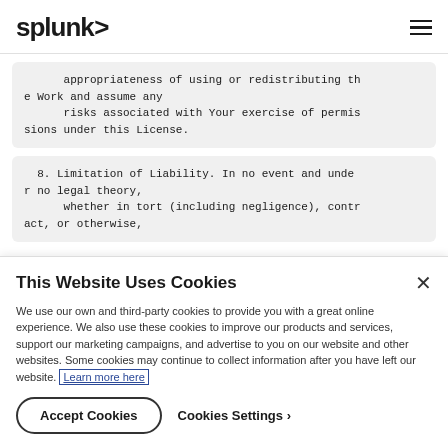splunk>
appropriateness of using or redistributing the Work and assume any
      risks associated with Your exercise of permissions under this License.
8. Limitation of Liability. In no event and under no legal theory,
      whether in tort (including negligence), contract, or otherwise,
This Website Uses Cookies
We use our own and third-party cookies to provide you with a great online experience. We also use these cookies to improve our products and services, support our marketing campaigns, and advertise to you on our website and other websites. Some cookies may continue to collect information after you have left our website. Learn more here
Accept Cookies
Cookies Settings ›